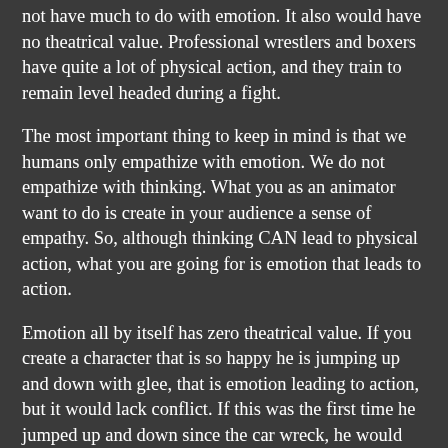not have much to do with emotion. It also would have no theatrical value. Professional wrestlers and boxers have quite a lot of physical action, and they train to remain level headed during a fight.
The most important thing to keep in mind is that we humans only empathize with emotion. We do not empathize with thinking. What you as an animator want to do is create in your audience a sense of empathy. So, although thinking CAN lead to physical action, what you are going for is emotion that leads to action.
Emotion all by itself has zero theatrical value. If you create a character that is so happy he is jumping up and down with glee, that is emotion leading to action, but it would lack conflict. If this was the first time he jumped up and down since the car wreck, he would have to contend with s stiff body and maybe weakened legs. That would make it theatrical.
Emotion and thinking is a two-way street. The way you feel affects the way you think. This is especially helpful to